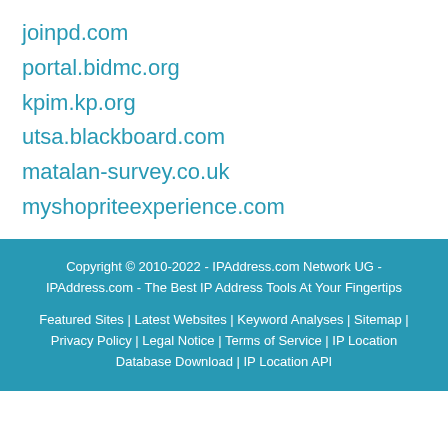joinpd.com
portal.bidmc.org
kpim.kp.org
utsa.blackboard.com
matalan-survey.co.uk
myshopriteexperience.com
Copyright © 2010-2022 - IPAddress.com Network UG - IPAddress.com - The Best IP Address Tools At Your Fingertips
Featured Sites | Latest Websites | Keyword Analyses | Sitemap | Privacy Policy | Legal Notice | Terms of Service | IP Location Database Download | IP Location API